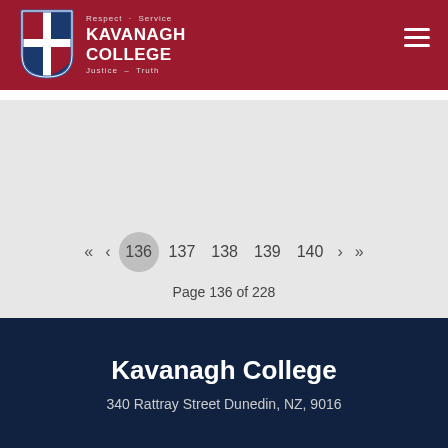[Figure (logo): Kavanagh College shield logo with cross, in red and blue with white cross. Text: Respect, Service, Justice, Truth alongside KAVANAGH COLLEGE name.]
Kavanagh College — Respect · Service · Justice · Truth
Page 136 of 228
Kavanagh College
340 Rattray Street Dunedin, NZ, 9016